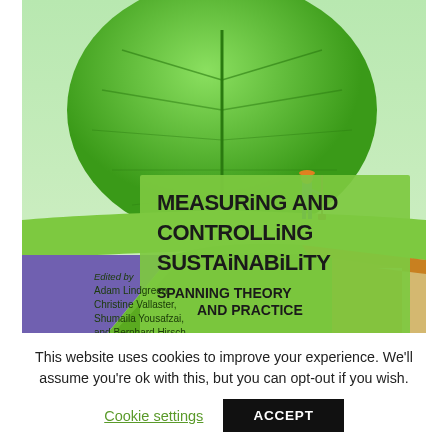[Figure (illustration): Book cover of 'Measuring and Controlling Sustainability: Spanning Theory and Practice'. Features a stylized illustration of layered soil cross-section with colored bands (green, brown/black, purple, orange, gold, blue) and a large green leaf/tree above. A person stands on the ground. Text lists editors: Adam Lindgreen, Christine Vallaster, Shumaila Yousafzai, and Bernhard Hirsch.]
This website uses cookies to improve your experience. We'll assume you're ok with this, but you can opt-out if you wish.
Cookie settings   ACCEPT